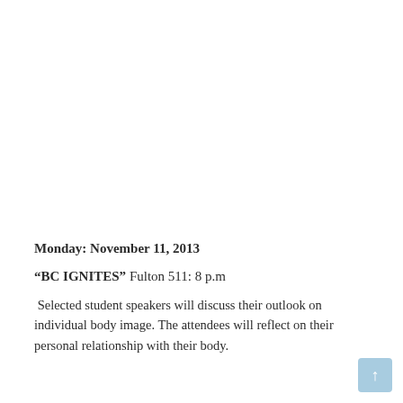Monday: November 11, 2013
“BC IGNITES” Fulton 511: 8 p.m
Selected student speakers will discuss their outlook on individual body image. The attendees will reflect on their personal relationship with their body.